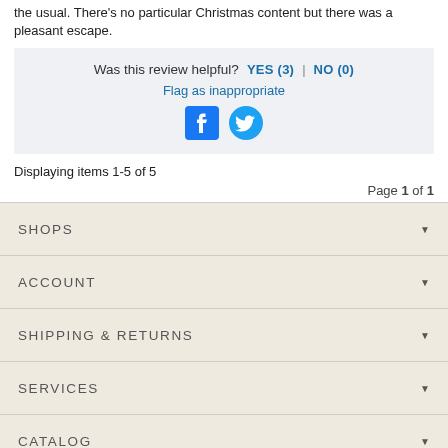the usual. There's no particular Christmas content but there was a pleasant escape.
Was this review helpful? YES (3) | NO (0)
Flag as inappropriate
Displaying items 1-5 of 5
Page 1 of 1
SHOPS
ACCOUNT
SHIPPING & RETURNS
SERVICES
CATALOG